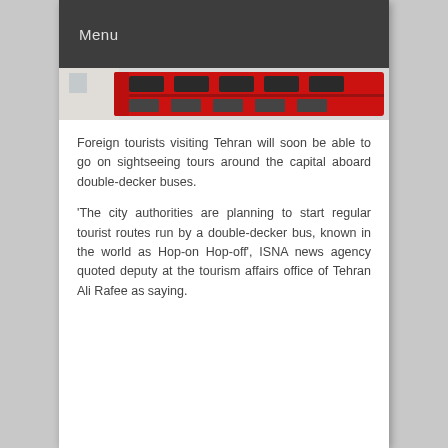Menu
[Figure (photo): Cropped photo of a red double-decker bus against a light building background]
Foreign tourists visiting Tehran will soon be able to go on sightseeing tours around the capital aboard double-decker buses.
‘The city authorities are planning to start regular tourist routes run by a double-decker bus, known in the world as Hop-on Hop-off’, ISNA news agency quoted deputy at the tourism affairs office of Tehran Ali Rafee as saying.